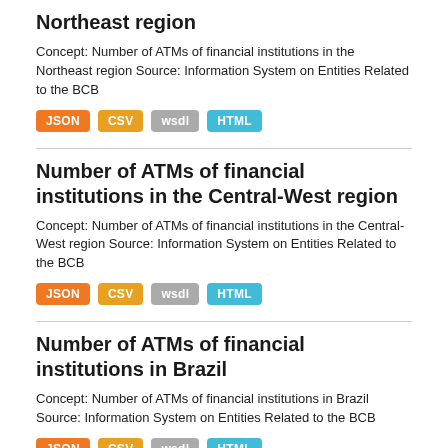Northeast region
Concept: Number of ATMs of financial institutions in the Northeast region Source: Information System on Entities Related to the BCB
JSON CSV wsdl HTML
Number of ATMs of financial institutions in the Central-West region
Concept: Number of ATMs of financial institutions in the Central-West region Source: Information System on Entities Related to the BCB
JSON CSV wsdl HTML
Number of ATMs of financial institutions in Brazil
Concept: Number of ATMs of financial institutions in Brazil Source: Information System on Entities Related to the BCB
JSON CSV wsdl HTML